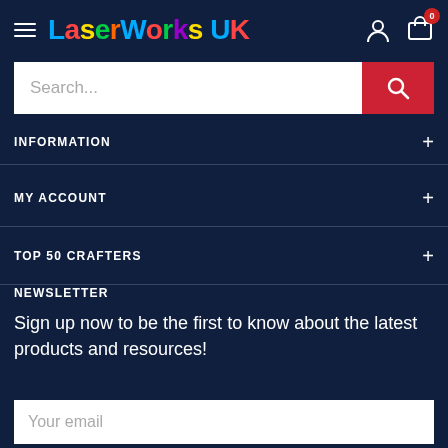[Figure (logo): LaserWorks UK logo with colorful lettering on dark navy background, hamburger menu icon on left, user and cart icons on right]
Search...
INFORMATION
MY ACCOUNT
TOP 50 CRAFTERS
NEWSLETTER
Sign up now to be the first to know about the latest products and resources!
Your email